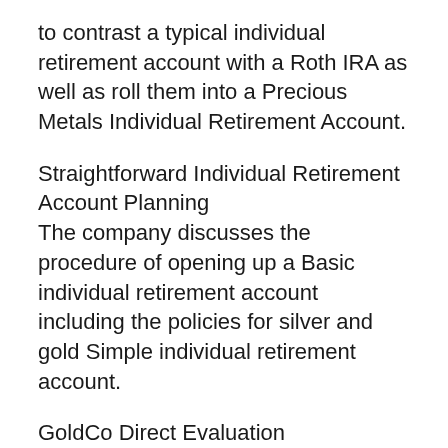to contrast a typical individual retirement account with a Roth IRA as well as roll them into a Precious Metals Individual Retirement Account.
Straightforward Individual Retirement Account Planning
The company discusses the procedure of opening up a Basic individual retirement account including the policies for silver and gold Simple individual retirement account.
GoldCo Direct Evaluation
Wanting to review companies for more information on what clients have to claim regarding GoldCo, we find that GoldCo has an A+ ranking from the Bbb with a testimonial celebrity rating of 4.89 out of 5